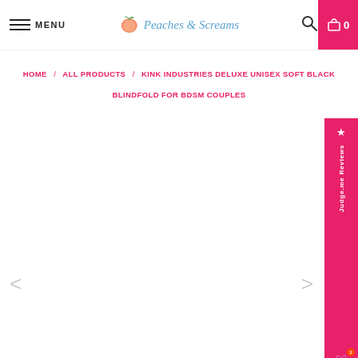MENU | Peaches & Screams | [search] [cart 0]
HOME / ALL PRODUCTS / KINK INDUSTRIES DELUXE UNISEX SOFT BLACK BLINDFOLD FOR BDSM COUPLES
[Figure (screenshot): Product image area - blank white space for product photo with left and right navigation arrows]
[Figure (other): Judge.me Reviews side widget in pink/magenta, vertical text, star icon]